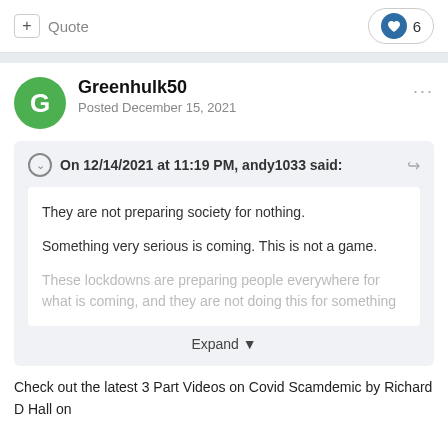+ Quote   ❤ 6
Greenhulk50
Posted December 15, 2021
On 12/14/2021 at 11:19 PM, andy1033 said:

They are not preparing society for nothing.

Something very serious is coming. This is not a game.

These lockdowns are preparing people everywhere for what is coming, and they are not doing this for something

Expand
Check out the latest 3 Part Videos on Covid Scamdemic by Richard D Hall on